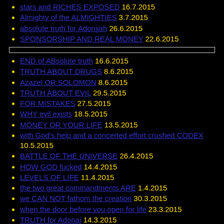stars and RICHES EXPOSED 16.7.2015
Almighty of the ALMIGHTIES 3.7.2015
absolute truth for Adonijah 26.6.2015
SPONSORSHIP AND REAL MONEY 22.6.2015
END of ABsolute truth 16.6.2015
TRUTH ABOUT DRUGS 8.6.2015
Azazel OR SOLOMON 8.6.2015
TRUTH ABOUT EVIL 29.5.2015
FOR MISTAKES 27.5.2015
WHY evil exists 18.5.2015
MONEY OR YOUR LIFE 13.5.2015
with God's help and a concerted effort crushed CODEX 10.5.2015
BATTLE OF THE UNIVERSE 26.4.2015
HOW GOD fucked 14.4.2015
LEVELS OF LIFE 11.4.2015
the two great commandments ARE 1.4.2015
we CAN NOT fathom the creation 30.3.2015
when the door before you open for life 23.3.2015
TRUTH for Adonai 14.3.2015
THE TRUE ABOUT... 13.3.2015